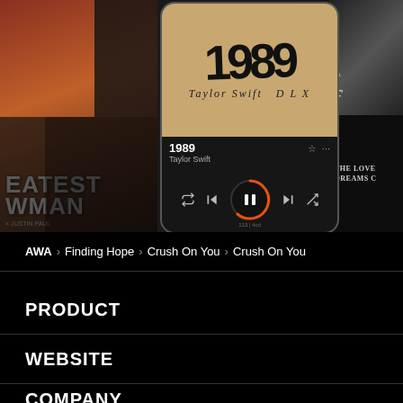[Figure (screenshot): Music player app screenshot showing Taylor Swift 1989 DLX album playing, with album art and playback controls, surrounded by other album covers in the background]
AWA > Finding Hope > Crush On You > Crush On You
PRODUCT
WEBSITE
COMPANY